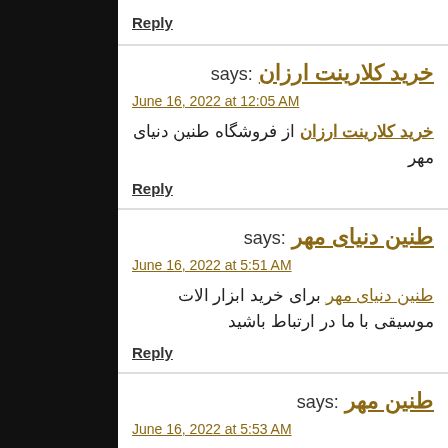Reply
خرید کلارینت ارزان says:
June 16, 2022 at 12:05 AM
خرید کلارینت ارزان از فروشگاه طنین دنیای مهر
Reply
طنین دنیای مهر says:
June 16, 2022 at 5:51 AM
طنین دنیای مهر برای خرید ابزار الات موسیقی با ما در ارتباط باشید
Reply
طنین مهر says:
June 16, 2022 at 5:53 AM